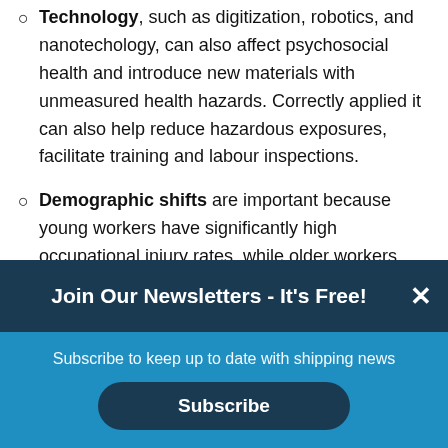Technology, such as digitization, robotics, and nanotechology, can also affect psychosocial health and introduce new materials with unmeasured health hazards. Correctly applied it can also help reduce hazardous exposures, facilitate training and labour inspections.
Demographic shifts are important because young workers have significantly high occupational injury rates, while older workers need adaptive practices and equipment to work safely. Women, who are entering the workforce...
Join Our Newsletters - It's Free!
Subscribe to keep up to date with shipping news
Subscribe